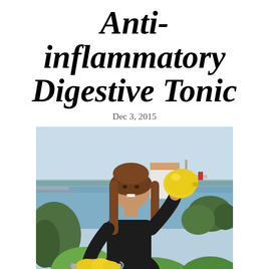Anti-inflammatory Digestive Tonic
Dec 3, 2015
[Figure (photo): A smiling young woman with long brown hair, wearing a black top, holding up a large yellow lemon in one hand and a metal bowl of lemons in the other. She stands outdoors with a coastal/harbour scene behind her, featuring calm water, a white building structure on a pier, and green shrubs.]